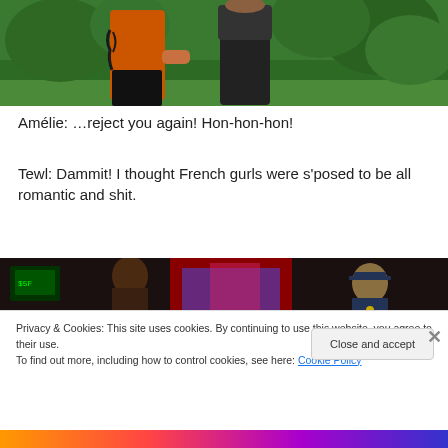[Figure (screenshot): Screenshot of a video game (The Sims) showing two characters outdoors, one in orange with tattoos, one in dark clothing, green foliage background.]
Amélie: …reject you again! Hon-hon-hon!
Tewl: Dammit! I thought French gurls were s'posed to be all romantic and shit.
[Figure (screenshot): Screenshot of a video game scene showing characters indoors near a red-framed door, dark/nighttime setting, a figure in a police hat visible.]
Privacy & Cookies: This site uses cookies. By continuing to use this website, you agree to their use.
To find out more, including how to control cookies, see here: Cookie Policy
Close and accept